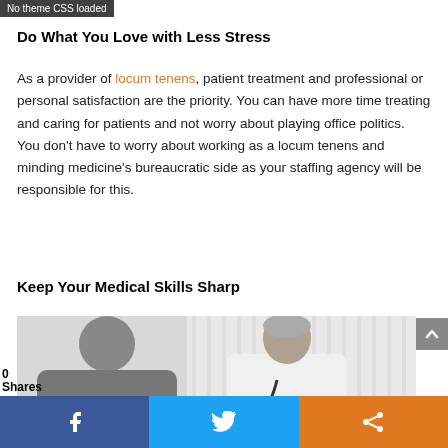Do What You Love with Less Stress
As a provider of locum tenens, patient treatment and professional or personal satisfaction are the priority. You can have more time treating and caring for patients and not worry about playing office politics. You don’t have to worry about working as a locum tenens and minding medicine’s bureaucratic side as your staffing agency will be responsible for this.
Keep Your Medical Skills Sharp
[Figure (photo): A doctor with grey hair and a stethoscope examining or consulting with a patient, in a clinical setting.]
0 Shares  [Facebook] [Twitter] [Share]